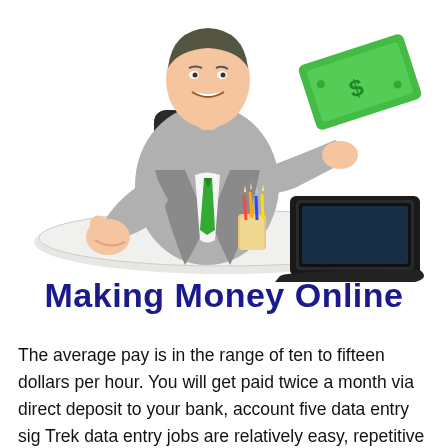[Figure (illustration): Cartoon illustration of a businessman in a grey suit with a green tie, giving a thumbs up with one hand and holding a large green banknote with the other. He sits behind a white oval desk with a black laptop and a cup holding colored pencils. The overall image promotes the topic of making money online.]
Making Money Online
The average pay is in the range of ten to fifteen dollars per hour. You will get paid twice a month via direct deposit to your bank, account five data entry sig Trek data entry jobs are relatively easy, repetitive jobs where you enter information from paper documents into digital form, data